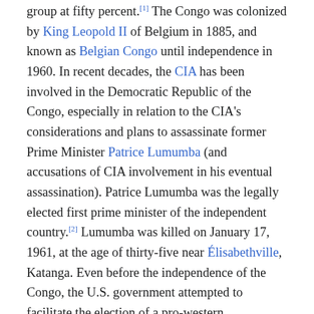group at fifty percent.[1] The Congo was colonized by King Leopold II of Belgium in 1885, and known as Belgian Congo until independence in 1960. In recent decades, the CIA has been involved in the Democratic Republic of the Congo, especially in relation to the CIA's considerations and plans to assassinate former Prime Minister Patrice Lumumba (and accusations of CIA involvement in his eventual assassination). Patrice Lumumba was the legally elected first prime minister of the independent country.[2] Lumumba was killed on January 17, 1961, at the age of thirty-five near Élisabethville, Katanga. Even before the independence of the Congo, the U.S. government attempted to facilitate the election of a pro-western government by identifying and supporting individual pro-U.S. leaders.[3] The CIA was also notably involved in a campaign against Lumumba's successor, which led to his eventual imprisonment and long exile from the Democratic